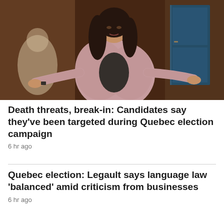[Figure (photo): A woman with long dark hair wearing a pink blazer and black top, gesturing with her arms outstretched, standing in what appears to be a formal interior setting with dark wood paneling and a blue door in the background.]
Death threats, break-in: Candidates say they've been targeted during Quebec election campaign
6 hr ago
Quebec election: Legault says language law 'balanced' amid criticism from businesses
6 hr ago